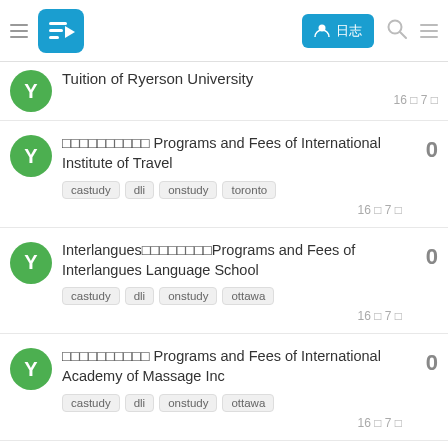Flyabroad navigation bar
Tuition of Ryerson University — 16 □ 7 □
□□□□□□□□□□ Programs and Fees of International Institute of Travel — tags: castudy, dli, onstudy, toronto — 16 □ 7 □ — 0 replies
Interlangues□□□□□□□□Programs and Fees of Interlangues Language School — tags: castudy, dli, onstudy, ottawa — 16 □ 7 □ — 0 replies
□□□□□□□□□□ Programs and Fees of International Academy of Massage Inc — tags: castudy, dli, onstudy, ottawa — 16 □ 7 □ — 0 replies
□□□□□□□□□□ Programs of Quest Language Studies — 0 replies